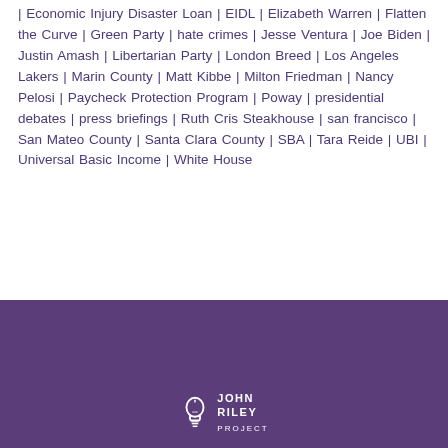| Economic Injury Disaster Loan | EIDL | Elizabeth Warren | Flatten the Curve | Green Party | hate crimes | Jesse Ventura | Joe Biden | Justin Amash | Libertarian Party | London Breed | Los Angeles Lakers | Marin County | Matt Kibbe | Milton Friedman | Nancy Pelosi | Paycheck Protection Program | Poway | presidential debates | press briefings | Ruth Cris Steakhouse | san francisco | San Mateo County | Santa Clara County | SBA | Tara Reide | UBI | Universal Basic Income | White House
[Figure (logo): John Riley Project logo with lightbulb icon and text JOHN RILEY PROJECT in white on purple background]